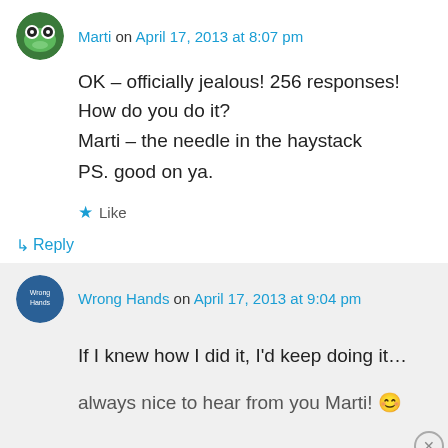[Figure (photo): Round avatar icon of Marti - cartoon frog character on green background]
Marti on April 17, 2013 at 8:07 pm
OK – officially jealous! 256 responses! How do you do it?
Marti – the needle in the haystack
PS. good on ya.
★ Like
↳ Reply
[Figure (photo): Round avatar icon for Wrong Hands blog - blue circle with text]
Wrong Hands on April 17, 2013 at 9:04 pm
If I knew how I did it, I'd keep doing it...
always nice to hear from you Marti! 😊
Advertisements
[Figure (photo): Victoria's Secret advertisement banner - pink background with model photo, VS logo, SHOP THE COLLECTION text, and SHOP NOW button]